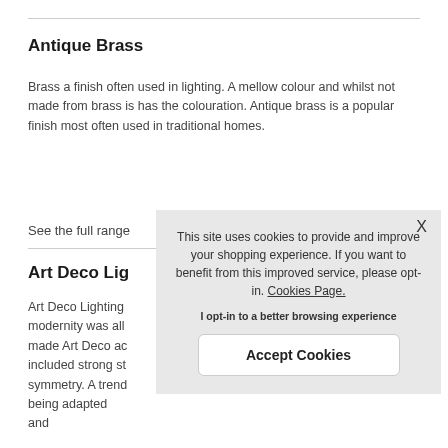Antique Brass
Brass a finish often used in lighting. A mellow colour and whilst not made from brass is has the colouration. Antique brass is a popular finish most often used in traditional homes.
See the full range
Art Deco Lig
Art Deco Lighting modernity was all made Art Deco ac included strong st symmetry. A trend being adapted and
This site uses cookies to provide and improve your shopping experience. If you want to benefit from this improved service, please opt-in. Cookies Page.
I opt-in to a better browsing experience
Accept Cookies